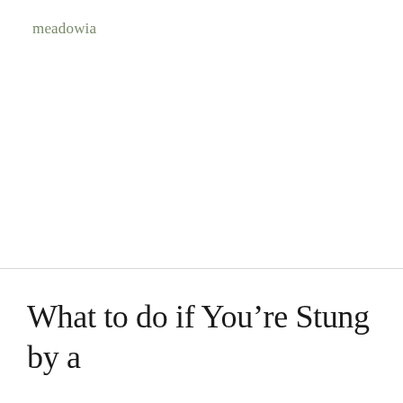meadowia
What to do if You're Stung by a